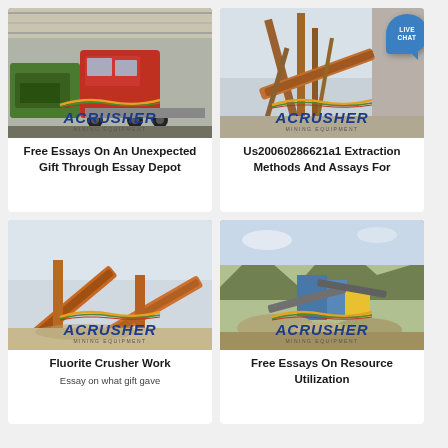[Figure (photo): Mining truck with green machinery on a flatbed, inside an industrial warehouse with ACRUSHER logo overlay]
Free Essays On An Unexpected Gift Through Essay Depot
[Figure (photo): Industrial conveyor/crane structure outdoors with ACRUSHER logo overlay and LIVE CHAT bubble]
Us20060286621a1 Extraction Methods And Assays For
[Figure (photo): Orange conveyor belts at an outdoor mining site with ACRUSHER logo overlay]
Fluorite Crusher Work
Essay on what gift gave
[Figure (photo): Quarry stone crushing plant with mountains in background and ACRUSHER logo overlay]
Free Essays On Resource Utilization